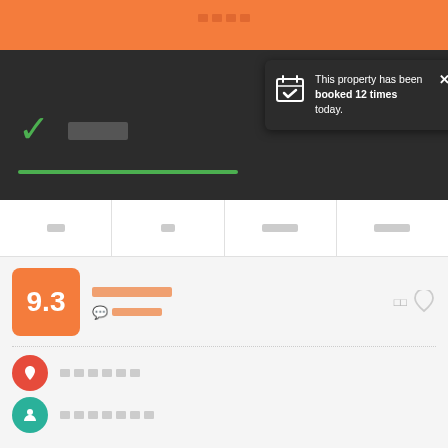[Figure (screenshot): Top dark navigation bar with orange strip and green checkmark with progress bar]
This property has been booked 12 times today.
[Figure (screenshot): Navigation tabs row with four tab items shown as redacted text]
[Figure (infographic): Property rating box showing 9.3, property name in orange, review count 528]
Location info icon with redacted text
Host/person icon with redacted text
Edit/pen icon with redacted text
Yellowsquare Milan is located in Porta Romana district, in the center of Milan; it serves as a hub for traveling people with a mixture of shared bunk style rooms and private accommodations. It's a great spot for creative professionals, digital nomads, and solo travelers looking for